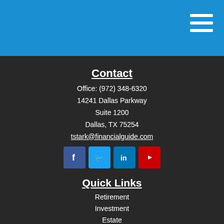Contact
Office: (972) 348-6320
14241 Dallas Parkway
Suite 1200
Dallas, TX 75254
tstark@financialguide.com
[Figure (infographic): Social media icons: Facebook, Twitter, LinkedIn, YouTube]
Quick Links
Retirement
Investment
Estate
Insurance
Tax
Money
Lifestyle